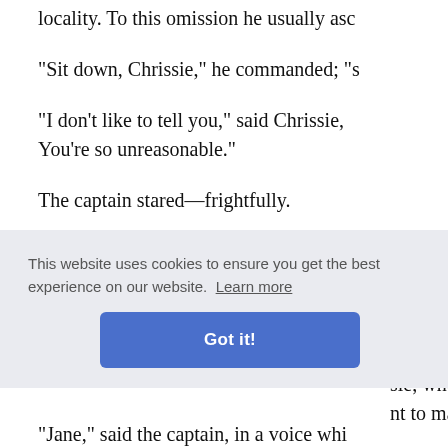locality. To this omission he usually asc
"Sit down, Chrissie," he commanded; "s
"I don't like to tell you," said Chrissie, You're so unreasonable."
The captain stared—frightfully.
"I'm going to be married," said Chris you'll have to learn to love him. He's g dismay the captain got up, and brandi simple but unusual means decorum was
d the cap
[Figure (screenshot): Cookie consent banner with text 'This website uses cookies to ensure you get the best experience on our website. Learn more' and a 'Got it!' button]
sie, who, nt to mar
"Jane," said the captain, in a voice whi